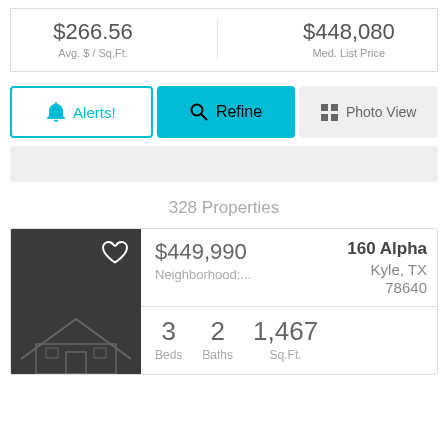$266.56
Avg. $ / Sq.Ft.
$448,080
Med. List Price
Alerts!
Refine
Photo View
328 Properties
[Figure (photo): Dark gray house listing photo thumbnail with heart icon and house roofline sketch]
$449,990
Neighborhood:...
160 Alpha
Kyle, TX
78640
3
Beds
2
Baths
1,467
Sq.Ft.